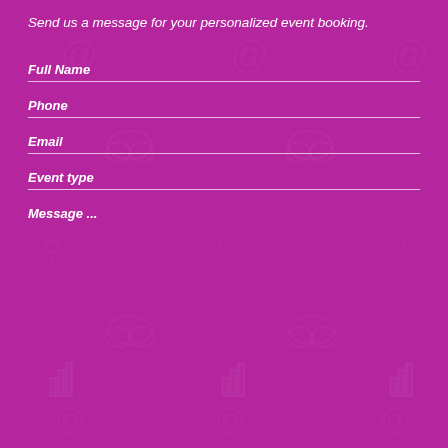Send us a message for your personalized event booking.
Full Name
Phone
Email
Event type
Message ...